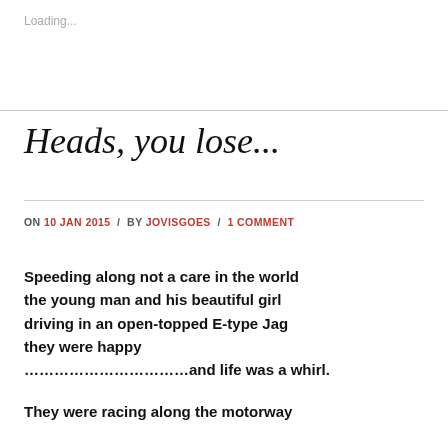Loading...
Heads, you lose...
ON 10 JAN 2015 / BY JOVISGOES / 1 COMMENT
Speeding along not a care in the world the young man and his beautiful girl driving in an open-topped E-type Jag they were happy ……………………………and life was a whirl.
They were racing along the motorway